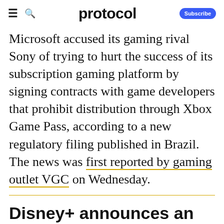protocol | Subscribe
Microsoft accused its gaming rival Sony of trying to hurt the success of its subscription gaming platform by signing contracts with game developers that prohibit distribution through Xbox Game Pass, according to a new regulatory filing published in Brazil. The news was first reported by gaming outlet VGC on Wednesday.
Disney+ announces an